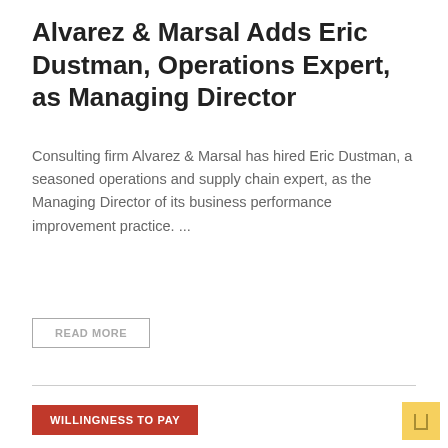Alvarez & Marsal Adds Eric Dustman, Operations Expert, as Managing Director
Consulting firm Alvarez & Marsal has hired Eric Dustman, a seasoned operations and supply chain expert, as the Managing Director of its business performance improvement practice. ...
READ MORE
WILLINGNESS TO PAY